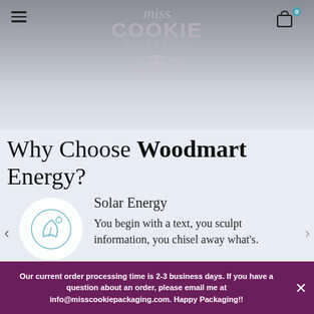[Figure (screenshot): Miss Cookie Packaging website header with logo, hamburger menu, and cart icon]
Why Choose Woodmart Energy?
[Figure (illustration): Circle icon with a leaf and solar/energy symbol in teal outline style]
Solar Energy
You begin with a text, you sculpt information, you chisel away what's.
Our current order processing time is 2-3 business days. If you have a question about an order, please email me at info@misscookiepackaging.com. Happy Packaging!!